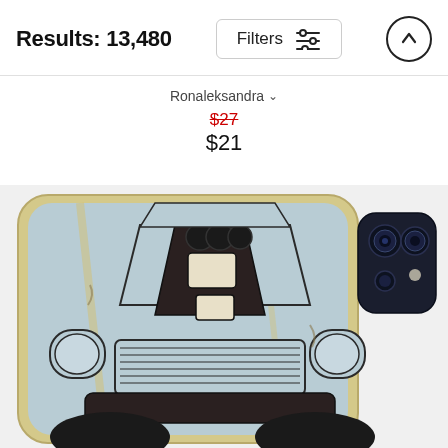Results: 13,480
Filters
Ronaleksandra
$27 (strikethrough, original price) $21 (sale price)
[Figure (photo): iPhone case featuring a vintage muscle car front-view illustration in a pop-art/sketch style with pale blue background and aged yellow border, shown on an iPhone with dark camera module visible on the right side.]